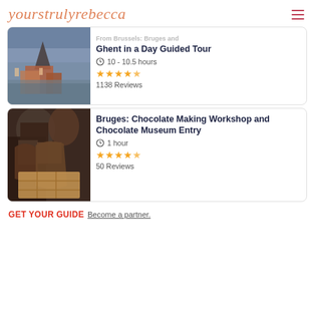yourstrulyrebecca
From Brussels: Bruges and Ghent in a Day Guided Tour
10 - 10.5 hours
4.5 stars, 1138 Reviews
Bruges: Chocolate Making Workshop and Chocolate Museum Entry
1 hour
4.5 stars, 50 Reviews
GET YOUR GUIDE  Become a partner.